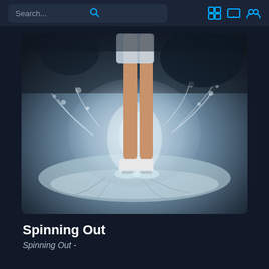Search...
[Figure (photo): A figure skater's legs and white ice skates seen from below the waist, with dramatic ice spray/splash effects around them on a dark moody background]
Spinning Out
Spinning Out -